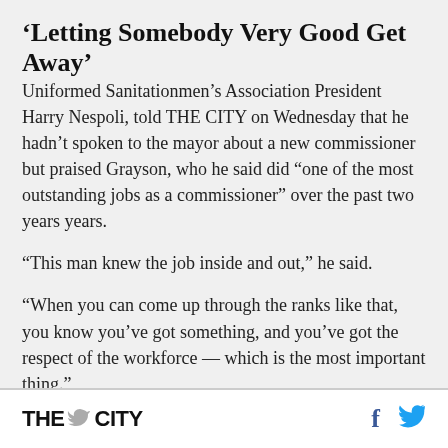'Letting Somebody Very Good Get Away'
Uniformed Sanitationmen’s Association President Harry Nespoli, told THE CITY on Wednesday that he hadn’t spoken to the mayor about a new commissioner but praised Grayson, who he said did “one of the most outstanding jobs as a commissioner” over the past two years years.
“This man knew the job inside and out,” he said.
“When you can come up through the ranks like that, you know you’ve got something, and you’ve got the respect of the workforce — which is the most important thing.”
THE CITY  [social icons: Facebook, Twitter]